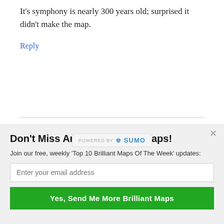It's symphony is nearly 300 years old; surprised it didn't make the map.
Reply
Dimitri Lostromos says
August 3, 2016 at 10:22 am
[Figure (other): Powered by Sumo banner]
Don't Miss Any Of Our Best Maps!
Join our free, weekly 'Top 10 Brilliant Maps Of The Week' updates:
Enter your email address
Yes, Send Me More Brilliant Maps